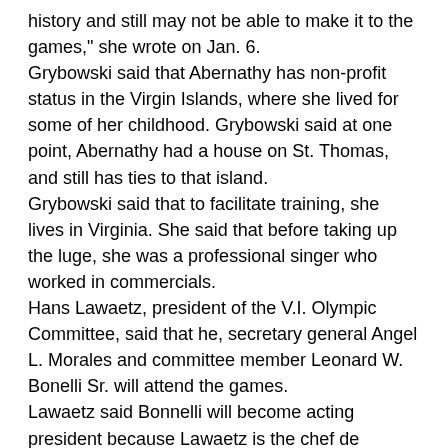history and still may not be able to make it to the games," she wrote on Jan. 6.
Grybowski said that Abernathy has non-profit status in the Virgin Islands, where she lived for some of her childhood. Grybowski said at one point, Abernathy had a house on St. Thomas, and still has ties to that island.
Grybowski said that to facilitate training, she lives in Virginia. She said that before taking up the luge, she was a professional singer who worked in commercials.
Hans Lawaetz, president of the V.I. Olympic Committee, said that he, secretary general Angel L. Morales and committee member Leonard W. Bonelli Sr. will attend the games.
Lawaetz said Bonnelli will become acting president because Lawaetz is the chef de mission — the person in charge of the Virgin Islands delegation.
He said the International Olympic Committee funds the entire contingent's trip and anted up $9,000 for Abernathy's